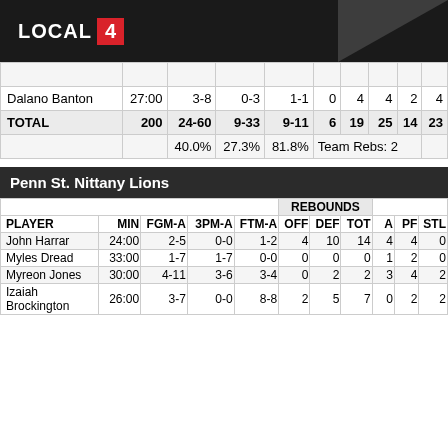LOCAL 4
|  |  |  |  |  |  |  |  |  |
| --- | --- | --- | --- | --- | --- | --- | --- | --- |
| Dalano Banton | 27:00 | 3-8 | 0-3 | 1-1 | 0 | 4 | 4 | 2 | 4 |
| TOTAL | 200 | 24-60 | 9-33 | 9-11 | 6 | 19 | 25 | 14 | 23 |
|  |  | 40.0% | 27.3% | 81.8% | Team Rebs: 2 |  |  |  |  |
Penn St. Nittany Lions
| PLAYER | MIN | FGM-A | 3PM-A | FTM-A | OFF | DEF | TOT | A | PF | STL |
| --- | --- | --- | --- | --- | --- | --- | --- | --- | --- | --- |
| John Harrar | 24:00 | 2-5 | 0-0 | 1-2 | 4 | 10 | 14 | 4 | 4 | 0 |
| Myles Dread | 33:00 | 1-7 | 1-7 | 0-0 | 0 | 0 | 0 | 1 | 2 | 0 |
| Myreon Jones | 30:00 | 4-11 | 3-6 | 3-4 | 0 | 2 | 2 | 3 | 4 | 2 |
| Izaiah Brockington | 26:00 | 3-7 | 0-0 | 8-8 | 2 | 5 | 7 | 0 | 2 | 2 |